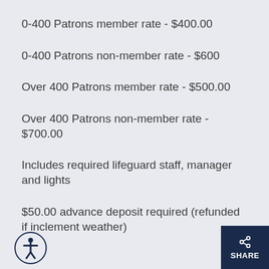0-400 Patrons member rate - $400.00
0-400 Patrons non-member rate - $600
Over 400 Patrons member rate - $500.00
Over 400 Patrons non-member rate - $700.00
Includes required lifeguard staff, manager and lights
$50.00 advance deposit required (refunded if inclement weather)